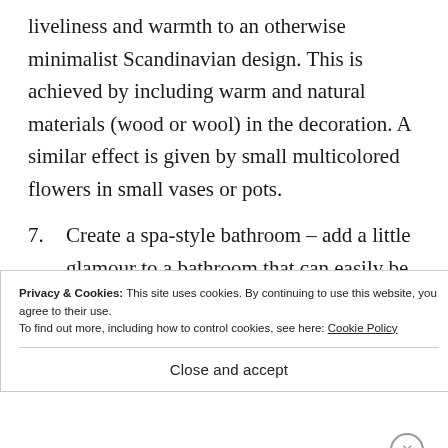liveliness and warmth to an otherwise minimalist Scandinavian design. This is achieved by including warm and natural materials (wood or wool) in the decoration. A similar effect is given by small multicolored flowers in small vases or pots.
7. Create a spa-style bathroom – add a little glamour to a bathroom that can easily be a
Privacy & Cookies: This site uses cookies. By continuing to use this website, you agree to their use.
To find out more, including how to control cookies, see here: Cookie Policy
Close and accept